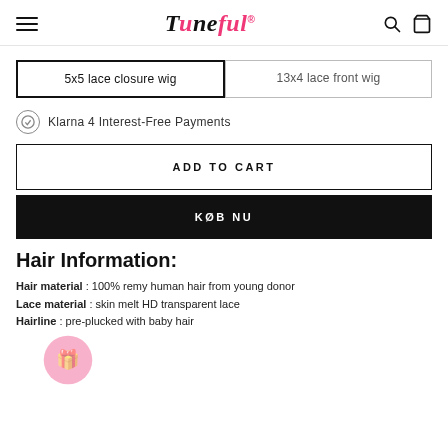Tuneful (logo) — navigation header with hamburger menu, search and cart icons
5x5 lace closure wig
13x4 lace front wig
Klarna 4 Interest-Free Payments
ADD TO CART
KØB NU
Hair Information:
Hair material : 100% remy human hair from young donor
Lace material : skin melt HD transparent lace
Hairline : pre-plucked with baby hair